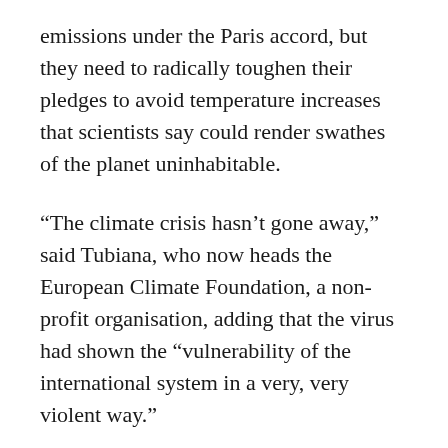emissions under the Paris accord, but they need to radically toughen their pledges to avoid temperature increases that scientists say could render swathes of the planet uninhabitable.
“The climate crisis hasn’t gone away,” said Tubiana, who now heads the European Climate Foundation, a non-profit organisation, adding that the virus had shown the “vulnerability of the international system in a very, very violent way.”
Climate campaigners are also concerned over the possible fate of an EU-China summit due to take place in Germany in September, seen as an important opportunity to coordinate action emissions in